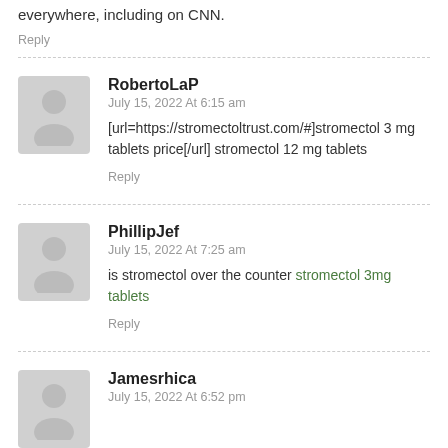everywhere, including on CNN.
Reply
RobertoLaP
July 15, 2022 At 6:15 am
[url=https://stromectoltrust.com/#]stromectol 3 mg tablets price[/url] stromectol 12 mg tablets
Reply
PhillipJef
July 15, 2022 At 7:25 am
is stromectol over the counter stromectol 3mg tablets
Reply
Jamesrhica
July 15, 2022 At 6:52 pm